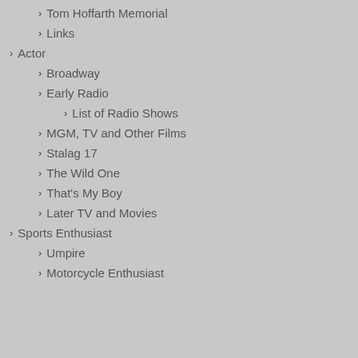Tom Hoffarth Memorial
Links
Actor
Broadway
Early Radio
List of Radio Shows
MGM, TV and Other Films
Stalag 17
The Wild One
That's My Boy
Later TV and Movies
Sports Enthusiast
Umpire
Motorcycle Enthusiast